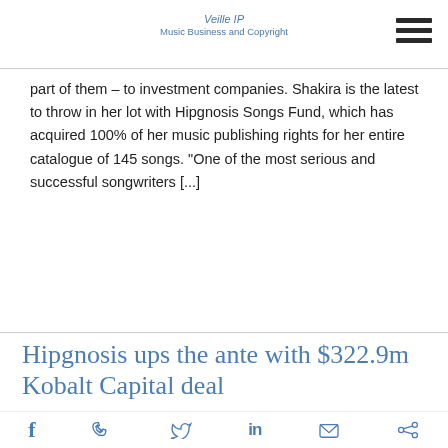Veille IP
Music Business and Copyright
part of them – to investment companies. Shakira is the latest to throw in her lot with Hipgnosis Songs Fund, which has acquired 100% of her music publishing rights for her entire catalogue of 145 songs. "One of the most serious and successful songwriters [...]
Read More
Hipgnosis ups the ante with $322.9m Kobalt Capital deal
Like a child scrambling to spend their birthday money on
f  👍  🐦  in  ✉  share